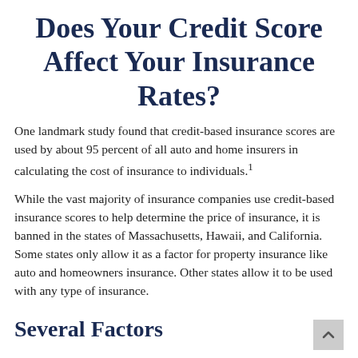Does Your Credit Score Affect Your Insurance Rates?
One landmark study found that credit-based insurance scores are used by about 95 percent of all auto and home insurers in calculating the cost of insurance to individuals.¹
While the vast majority of insurance companies use credit-based insurance scores to help determine the price of insurance, it is banned in the states of Massachusetts, Hawaii, and California. Some states only allow it as a factor for property insurance like auto and homeowners insurance. Other states allow it to be used with any type of insurance.
Several Factors